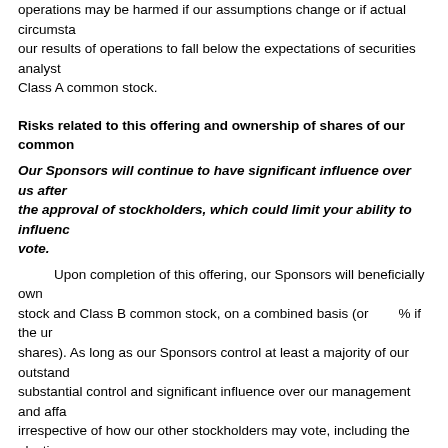operations may be harmed if our assumptions change or if actual circumstances differ from our assumptions. In addition, we caution that it is difficult to predict future events and if our results of operations to fall below the expectations of securities analysts or investors, the trading price of our Class A common stock.
Risks related to this offering and ownership of shares of our common
Our Sponsors will continue to have significant influence over us after this offering, including the approval of stockholders, which could limit your ability to influence the outcome of any vote.
Upon completion of this offering, our Sponsors will beneficially own      shares of our Class A common stock and Class B common stock, on a combined basis (or      % if the underwriters exercise their option to purchase additional shares). As long as our Sponsors control at least a majority of our outstanding common stock, they will have substantial control and significant influence over our management and affairs and over all matters requiring stockholder approval, irrespective of how our other stockholders may vote, including the election and removal of directors and the approval of any amendment of our certificate of incorporation or bylaws, or the approval of any merger, consolidation, or sale, including a sale of substantially all of our assets. See "Description of capital stock." Our Sponsors will be able to influence corporate matters and, as a result, we may take actions that you do not consider to be in your best interests. The trading price of our Class A common stock could be adversely affected. Even if their collective ownership falls below a majority, our Sponsors will continue to be able to strongly influence or effectively control our decisions.
Additionally, our Sponsors' interests may not align with the interests of our other stockholders. Our Sponsors may, in the ordinary course of its business, acquire and hold interests in businesses that compete with us. Our Sponsors may also pursue acquisition opportunities that may be complementary to our business, and, as a result, those acquisition opportunities may not be available to us.
Certain of our directors have relationships with our Sponsors, which a business.
Following this offering,            of our            directors will be a